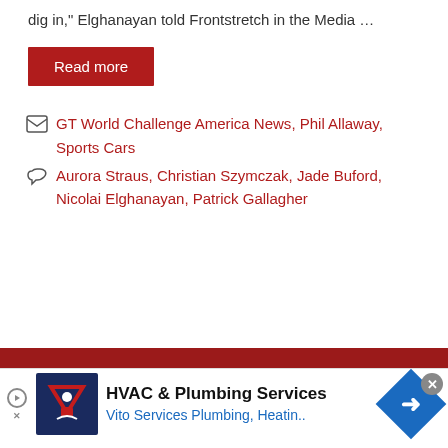dig in," Elghanayan told Frontstretch in the Media …
Read more
GT World Challenge America News, Phil Allaway, Sports Cars
Aurora Straus, Christian Szymczak, Jade Buford, Nicolai Elghanayan, Patrick Gallagher
[Figure (other): Advertisement banner for HVAC & Plumbing Services - Vito Services Plumbing, Heatin..]
HVAC & Plumbing Services Vito Services Plumbing, Heatin..